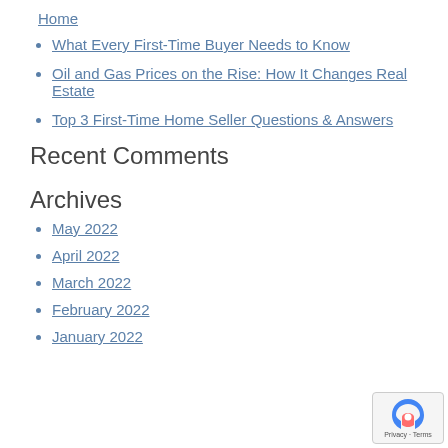Home
What Every First-Time Buyer Needs to Know
Oil and Gas Prices on the Rise: How It Changes Real Estate
Top 3 First-Time Home Seller Questions & Answers
Recent Comments
Archives
May 2022
April 2022
March 2022
February 2022
January 2022